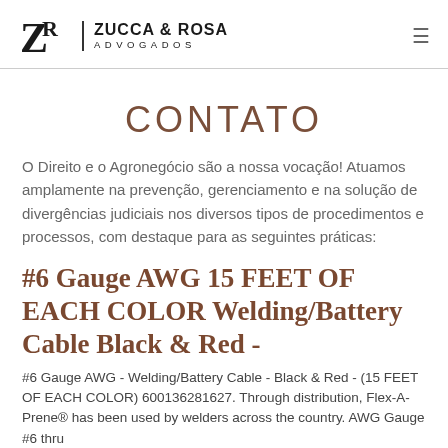Zucca & Rosa Advogados
CONTATO
O Direito e o Agronegócio são a nossa vocação! Atuamos amplamente na prevenção, gerenciamento e na solução de divergências judiciais nos diversos tipos de procedimentos e processos, com destaque para as seguintes práticas:
#6 Gauge AWG 15 FEET OF EACH COLOR Welding/Battery Cable Black & Red -
#6 Gauge AWG - Welding/Battery Cable - Black & Red - (15 FEET OF EACH COLOR) 600136281627. Through distribution, Flex-A-Prene® has been used by welders across the country. AWG Gauge #6 thru